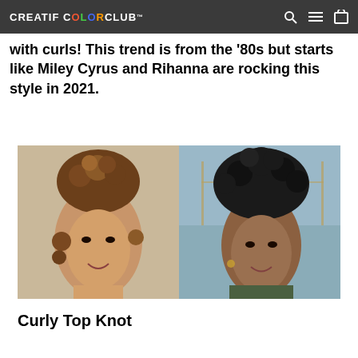CREATIF COLOR CLUB ™
with curls! This trend is from the '80s but starts like Miley Cyrus and Rihanna are rocking this style in 2021.
[Figure (photo): Two women with curly hair updo styles side by side. Left: woman with light brown curly top knot. Right: woman with dark tight curly updo.]
Curly Top Knot